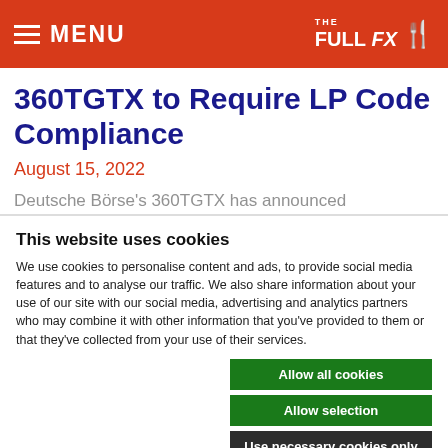MENU | THE FULL FX
360TGTX to Require LP Code Compliance
August 15, 2022
Deutsche Börse's 360TGTX has announced
This website uses cookies
We use cookies to personalise content and ads, to provide social media features and to analyse our traffic. We also share information about your use of our site with our social media, advertising and analytics partners who may combine it with other information that you've provided to them or that they've collected from your use of their services.
Allow all cookies
Allow selection
Use necessary cookies only
Necessary  Preferences  Statistics  Marketing  Show details